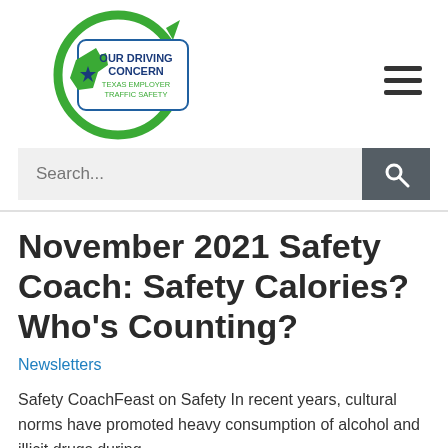[Figure (logo): Our Driving Concern – Texas Employer Traffic Safety logo: green circular arrow with Texas state shape and blue star, with text 'OUR DRIVING CONCERN TEXAS EMPLOYER TRAFFIC SAFETY' inside a badge shape]
November 2021 Safety Coach: Safety Calories? Who's Counting?
Newsletters
Safety CoachFeast on Safety In recent years, cultural norms have promoted heavy consumption of alcohol and illicit drugs during